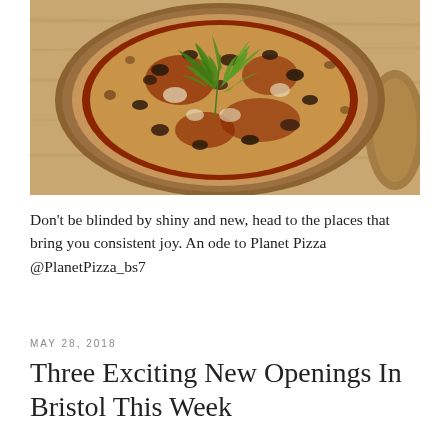[Figure (photo): A pizza topped with fresh arugula leaves on a wooden pizza board/paddle, photographed from above on a wooden table surface.]
Don't be blinded by shiny and new, head to the places that bring you consistent joy. An ode to Planet Pizza @PlanetPizza_bs7
MAY 28, 2018
Three Exciting New Openings In Bristol This Week